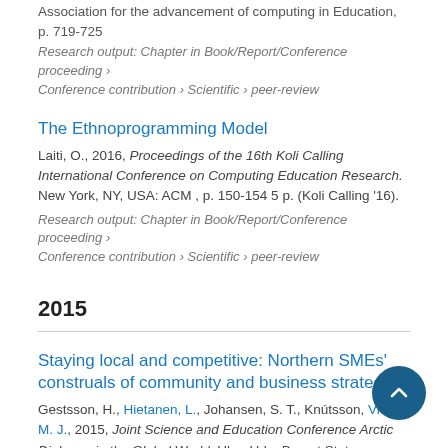Association for the advancement of computing in Education, p. 719-725
Research output: Chapter in Book/Report/Conference proceeding › Conference contribution › Scientific › peer-review
The Ethnoprogramming Model
Laiti, O., 2016, Proceedings of the 16th Koli Calling International Conference on Computing Education Research. New York, NY, USA: ACM , p. 150-154 5 p. (Koli Calling '16).
Research output: Chapter in Book/Report/Conference proceeding › Conference contribution › Scientific › peer-review
2015
Staying local and competitive: Northern SMEs' construals of community and business strategies
Gestsson, H., Hietanen, L., Johansen, S. T., Knútsson, Vieru, M. J., 2015, Joint Science and Education Conference Arctic Dialogue in the Global World. Ulan-Ude: Buryat State